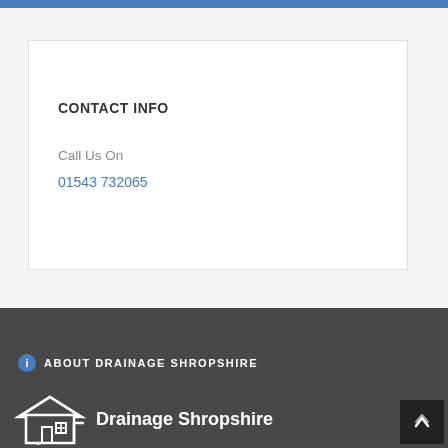CONTACT INFO
Call Us On
01543 732065
ABOUT DRAINAGE SHROPSHIRE
[Figure (logo): Drainage Shropshire logo — house icon with drainage pipe and text 'Drainage Shropshire']
Drainage Shropshire